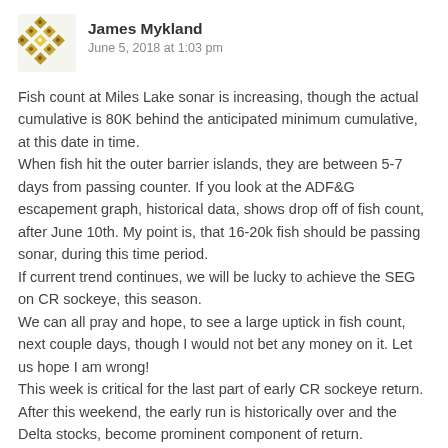[Figure (illustration): Golden/olive diamond-pattern avatar icon for user James Mykland]
James Mykland
June 5, 2018 at 1:03 pm
Fish count at Miles Lake sonar is increasing, though the actual cumulative is 80K behind the anticipated minimum cumulative, at this date in time.
When fish hit the outer barrier islands, they are between 5-7 days from passing counter. If you look at the ADF&G escapement graph, historical data, shows drop off of fish count, after June 10th. My point is, that 16-20k fish should be passing sonar, during this time period.
If current trend continues, we will be lucky to achieve the SEG on CR sockeye, this season.
We can all pray and hope, to see a large uptick in fish count, next couple days, though I would not bet any money on it. Let us hope I am wrong!
This week is critical for the last part of early CR sockeye return. After this weekend, the early run is historically over and the Delta stocks, become prominent component of return.
Loading...